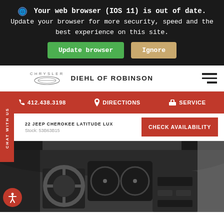Your web browser (IOS 11) is out of date. Update your browser for more security, speed and the best experience on this site. [Update browser] [Ignore]
[Figure (screenshot): Chrysler logo with text CHRYSLER in small caps]
DIEHL OF ROBINSON
[Figure (infographic): Hamburger menu icon (three horizontal bars)]
CHAT WITH US
412.438.3198  DIRECTIONS  SERVICE
22 JEEP CHEROKEE LATITUDE LUX  Stock: 53B63B15
CHECK AVAILABILITY
[Figure (photo): Interior dashboard view of a Jeep Cherokee, showing steering wheel, instrument cluster, and center console in grayscale/dark tones]